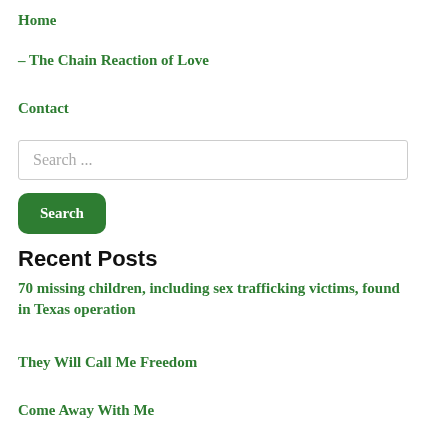Home
– The Chain Reaction of Love
Contact
Search ...
Search
Recent Posts
70 missing children, including sex trafficking victims, found in Texas operation
They Will Call Me Freedom
Come Away With Me